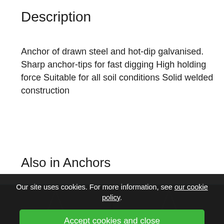Description
Anchor of drawn steel and hot-dip galvanised. Sharp anchor-tips for fast digging High holding force Suitable for all soil conditions Solid welded construction
Also in Anchors
[Figure (screenshot): Dark background product thumbnail row with two partially visible anchor product images, each with a blue top border]
Our site uses cookies. For more information, see our cookie policy.
Accept cookies and close
Reject cookies
Manage settings